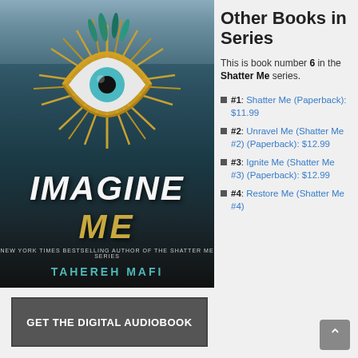[Figure (illustration): Book cover of 'Imagine Me' by Tahereh Mafi showing an eye surrounded by golden spikes and feathers with teal-colored iris, with the title 'IMAGINE ME' in large letters]
GET THE DIGITAL AUDIOBOOK
Other Books in Series
This is book number 6 in the Shatter Me series.
#1: Shatter Me (Paperback): $11.99
#2: Unravel Me (Shatter Me #2) (Paperback): $12.99
#3: Ignite Me (Shatter Me #3) (Paperback): $12.99
#4: Restore Me (Shatter Me #4)